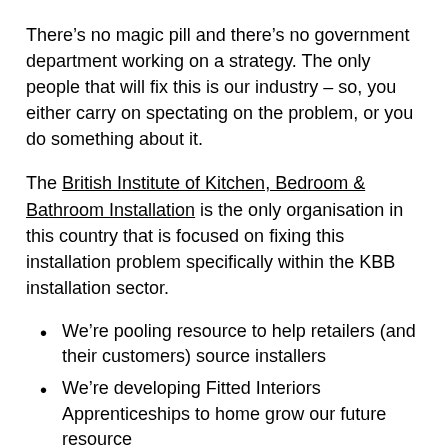There’s no magic pill and there’s no government department working on a strategy. The only people that will fix this is our industry – so, you either carry on spectating on the problem, or you do something about it.
The British Institute of Kitchen, Bedroom & Bathroom Installation is the only organisation in this country that is focused on fixing this installation problem specifically within the KBB installation sector.
We’re pooling resource to help retailers (and their customers) source installers
We’re developing Fitted Interiors Apprenticeships to home grow our future resource
We’re defining standards to demonstrate what good looks like